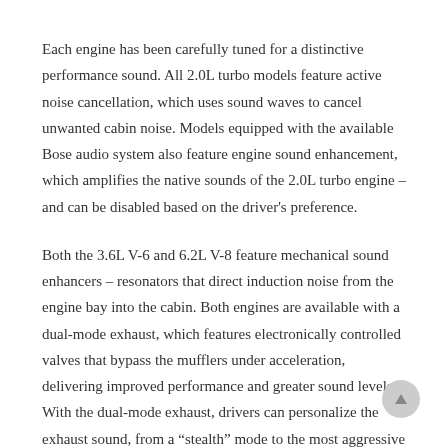Each engine has been carefully tuned for a distinctive performance sound. All 2.0L turbo models feature active noise cancellation, which uses sound waves to cancel unwanted cabin noise. Models equipped with the available Bose audio system also feature engine sound enhancement, which amplifies the native sounds of the 2.0L turbo engine – and can be disabled based on the driver's preference.
Both the 3.6L V-6 and 6.2L V-8 feature mechanical sound enhancers – resonators that direct induction noise from the engine bay into the cabin. Both engines are available with a dual-mode exhaust, which features electronically controlled valves that bypass the mufflers under acceleration, delivering improved performance and greater sound levels. With the dual-mode exhaust, drivers can personalize the exhaust sound, from a “stealth” mode to the most aggressive “track” mode.